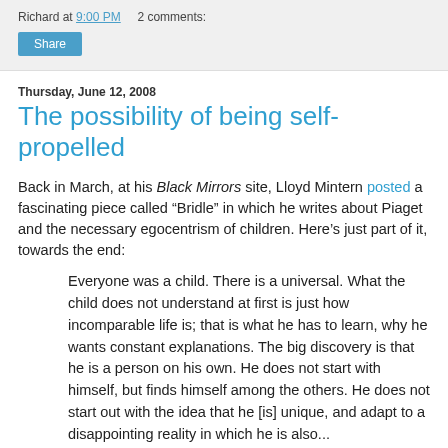Richard at 9:00 PM    2 comments:
Thursday, June 12, 2008
The possibility of being self-propelled
Back in March, at his Black Mirrors site, Lloyd Mintern posted a fascinating piece called “Bridle” in which he writes about Piaget and the necessary egocentrism of children. Here’s just part of it, towards the end:
Everyone was a child. There is a universal. What the child does not understand at first is just how incomparable life is; that is what he has to learn, why he wants constant explanations. The big discovery is that he is a person on his own. He does not start with himself, but finds himself among the others. He does not start out with the idea that he [is] unique, and adapt to a disappointing reality in which he is also...